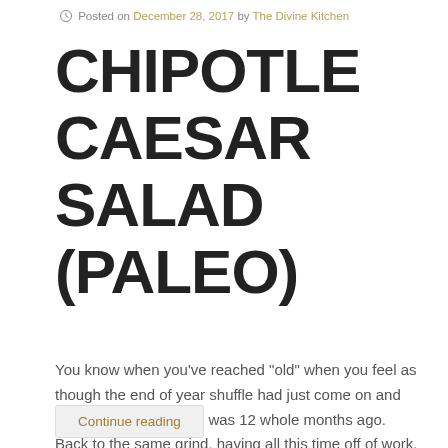Posted on December 28, 2017 by The Divine Kitchen
CHIPOTLE CAESAR SALAD (PALEO)
You know when you’ve reached “old” when you feel as though the end of year shuffle had just come on and gone, when in reality it was 12 whole months ago. Back to the same grind, having all this time off of work, thinking I won’t have any time to do anything, and ending up …
Continue reading